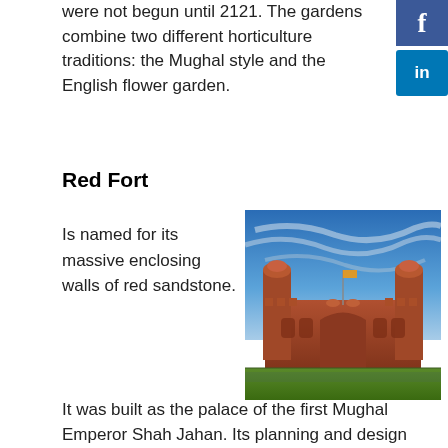were not begun until 2121. The gardens combine two different horticulture traditions: the Mughal style and the English flower garden.
[Figure (illustration): Facebook social share button (blue square with white 'f' logo)]
[Figure (illustration): LinkedIn social share button (blue square with white 'in' logo)]
Red Fort
[Figure (photo): Photograph of Red Fort, a large red sandstone Mughal fortress with towers and domes against a dramatic blue sky with wispy clouds.]
Is named for its massive enclosing walls of red sandstone. It was built as the palace of the first Mughal Emperor Shah Jahan. Its planning and design was the culmination of architectural development initiated in 1526 and refined by Shah Jahan with a fusion of four traditions namely: Persian, Timurid, Hindu and Islamic. The architectural style of the building and the design of the garden influenced the buildings and garden in Rajasthan, Delhi, Agra, and the surrounding area.